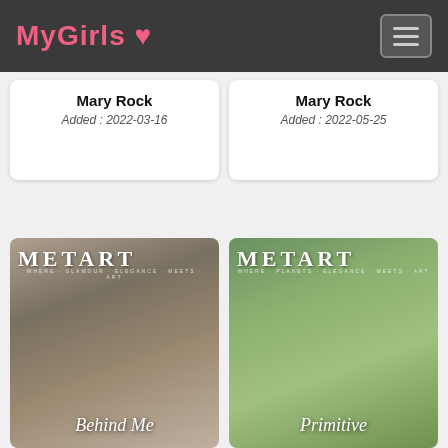MyGirls
Mary Rock
Added : 2022-03-16
Mary Rock
Added : 2022-05-25
[Figure (photo): MetArt magazine cover titled 'Behind Me' showing a dark-haired model in an indoor setting]
[Figure (photo): MetArt magazine cover titled 'Primitive' showing a blonde model with braids in an outdoor nature setting]